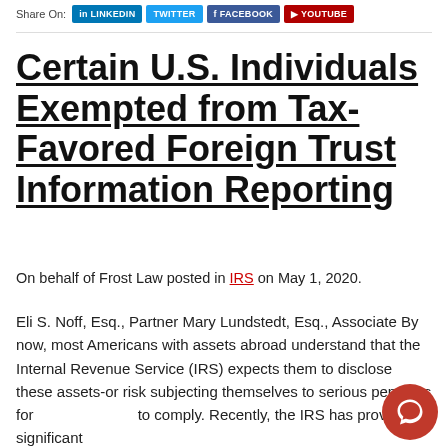Share On: LinkedIn Twitter Facebook YouTube
Certain U.S. Individuals Exempted from Tax-Favored Foreign Trust Information Reporting
On behalf of Frost Law posted in IRS on May 1, 2020.
Eli S. Noff, Esq., Partner Mary Lundstedt, Esq., Associate By now, most Americans with assets abroad understand that the Internal Revenue Service (IRS) expects them to disclose these assets-or risk subjecting themselves to serious penalties for to comply. Recently, the IRS has provided significant